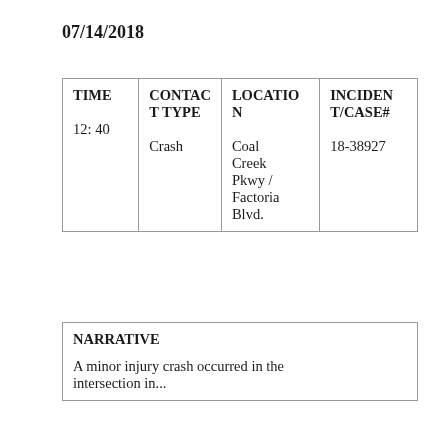07/14/2018
| TIME | CONTACT TYPE | LOCATION | INCIDENT/CASE# |
| --- | --- | --- | --- |
| 12: 40 | Crash | Coal Creek Pkwy / Factoria Blvd. | 18-38927 |
NARRATIVE
A minor injury crash occurred in the intersection in...